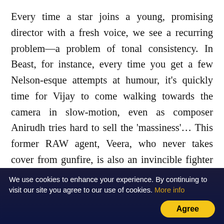Every time a star joins a young, promising director with a fresh voice, we see a recurring problem—a problem of tonal consistency. In Beast, for instance, every time you get a few Nelson-esque attempts at humour, it's quickly time for Vijay to come walking towards the camera in slow-motion, even as composer Anirudh tries hard to sell the 'massiness'… This former RAW agent, Veera, who never takes cover from gunfire, is also an invincible fighter with the ability to duck and swerve like Neo, when bullets rain at him. And as I have so often said about invulnerable heroes, where's the fun in the bad guys getting the crap beaten
We use cookies to enhance your experience. By continuing to visit our site you agree to our use of cookies. More info